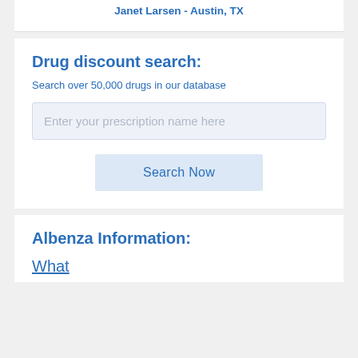Janet Larsen - Austin, TX
Drug discount search:
Search over 50,000 drugs in our database
Enter your prescription name here
Search Now
Albenza Information:
What